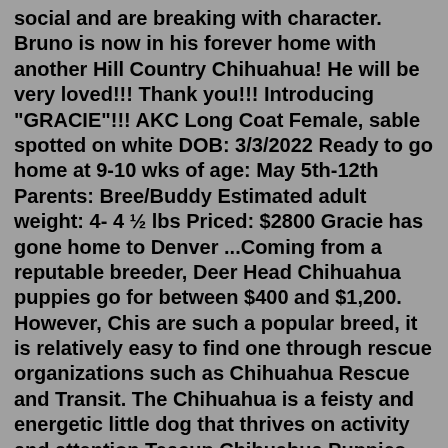social and are breaking with character. Bruno is now in his forever home with another Hill Country Chihuahua! He will be very loved!!! Thank you!!! Introducing "GRACIE"!!! AKC Long Coat Female, sable spotted on white DOB: 3/3/2022 Ready to go home at 9-10 wks of age: May 5th-12th Parents: Bree/Buddy Estimated adult weight: 4- 4 ½ lbs Priced: $2800 Gracie has gone home to Denver ...Coming from a reputable breeder, Deer Head Chihuahua puppies go for between $400 and $1,200. However, Chis are such a popular breed, it is relatively easy to find one through rescue organizations such as Chihuahua Rescue and Transit. The Chihuahua is a feisty and energetic little dog that thrives on activity and attention.Teacup Chihuahua Puppies. We often have "teacup" Chihuahua puppies for sale. We now specialize in blue and lavender Chihuahuas but also have white, chocolate, tri-colored, and more. Our Chihuahuas also have different coats such as smooth coat, short hair or long hair. We have a broad color chart of blended li...